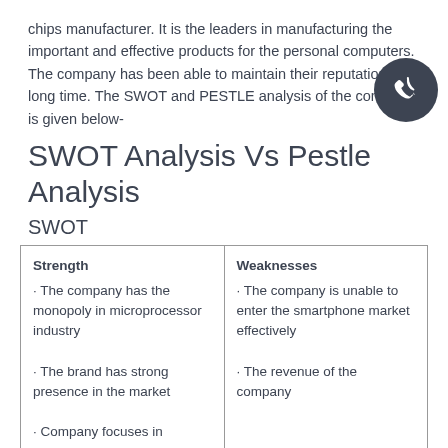chips manufacturer. It is the leaders in manufacturing the important and effective products for the personal computers. The company has been able to maintain their reputation for a long time. The SWOT and PESTLE analysis of the company is given below-
SWOT Analysis Vs Pestle Analysis
SWOT
| Strength | Weaknesses |
| --- | --- |
| · The company has the monopoly in microprocessor industry
· The brand has strong presence in the market
· Company focuses in excellence and efficiency of their operation
· Broad product portfolio of | · The company is unable to enter the smartphone market effectively
· The revenue of the company |